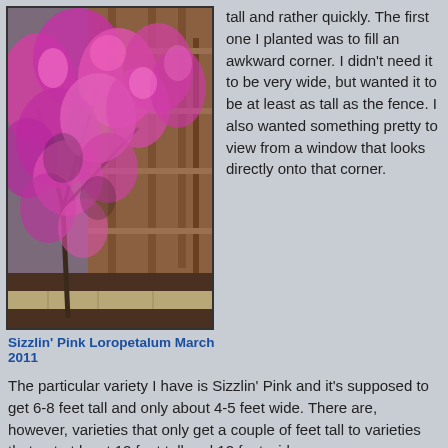[Figure (photo): Photo of a Sizzlin' Pink Loropetalum shrub covered in bright pink flowers growing against a wooden fence in a garden corner, with stone edging at the base.]
Sizzlin' Pink Loropetalum March 2011
tall and rather quickly. The first one I planted was to fill an awkward corner. I didn't need it to be very wide, but wanted it to be at least as tall as the fence. I also wanted something pretty to view from a window that looks directly onto that corner.
The particular variety I have is Sizzlin' Pink and it's supposed to get 6-8 feet tall and only about 4-5 feet wide. There are, however, varieties that only get a couple of feet tall to varieties that get at least 12 feet tall and 12 feet wide.
Another great thing about the loropetalum is how they can grow into such a wonderful, loose, but symmetrical shape—that's how I've kept mine. Or you can trim them into shapes